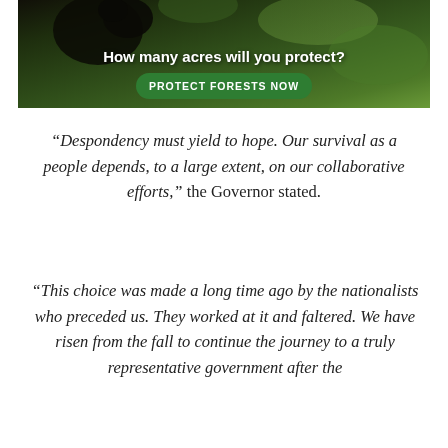[Figure (other): Forest conservation advertisement banner showing dark wildlife/monkey imagery with green foliage background. Text overlay reads 'How many acres will you protect?' with a green button labeled 'PROTECT FORESTS NOW'.]
“Despondency must yield to hope. Our survival as a people depends, to a large extent, on our collaborative efforts,” the Governor stated.
“This choice was made a long time ago by the nationalists who preceded us. They worked at it and faltered. We have risen from the fall to continue the journey to a truly representative government after the